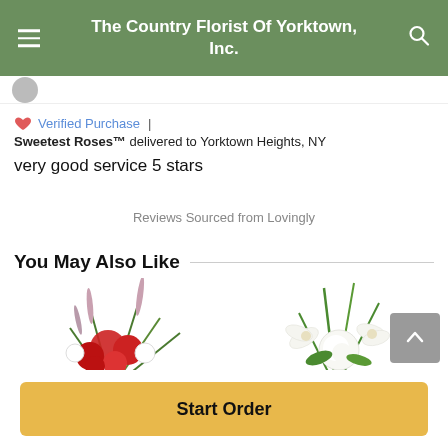The Country Florist Of Yorktown, Inc.
Verified Purchase | Sweetest Roses™ delivered to Yorktown Heights, NY
very good service 5 stars
Reviews Sourced from Lovingly
You May Also Like
[Figure (photo): Red floral arrangement with carnations and greenery]
[Figure (photo): White floral arrangement with lilies and roses]
Start Order